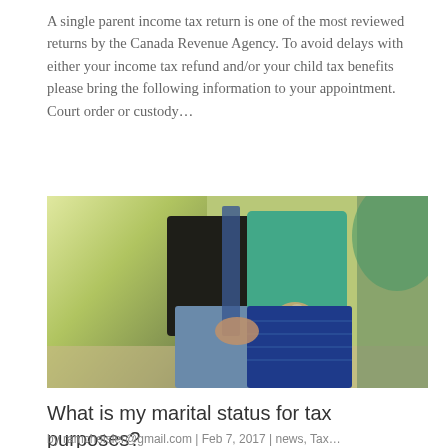A single parent income tax return is one of the most reviewed returns by the Canada Revenue Agency. To avoid delays with either your income tax refund and/or your child tax benefits please bring the following information to your appointment. Court order or custody...
[Figure (photo): A couple holding hands outdoors, woman wearing a teal top and blue patterned skirt, man in dark shirt and jeans, natural outdoor background with greenery.]
What is my marital status for tax purposes?
by ramcheisler@gmail.com | Feb 7, 2017 | news, Tax...